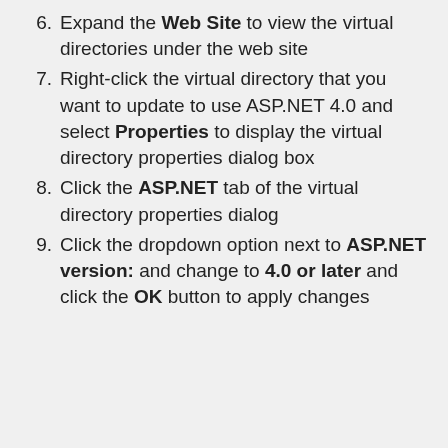6. Expand the Web Site to view the virtual directories under the web site
7. Right-click the virtual directory that you want to update to use ASP.NET 4.0 and select Properties to display the virtual directory properties dialog box
8. Click the ASP.NET tab of the virtual directory properties dialog
9. Click the dropdown option next to ASP.NET version: and change to 4.0 or later and click the OK button to apply changes